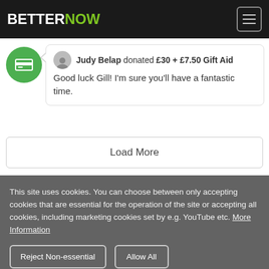BETTER NOW
[Figure (other): Green circle icon with credit card symbol]
Judy Belap donated £30 + £7.50 Gift Aid
Good luck Gill! I'm sure you'll have a fantastic time.
Load More
This site uses cookies. You can choose between only accepting cookies that are essential for the operation of the site or accepting all cookies, including marketing cookies set by e.g. YouTube etc. More Information
Reject Non-essential   Allow All